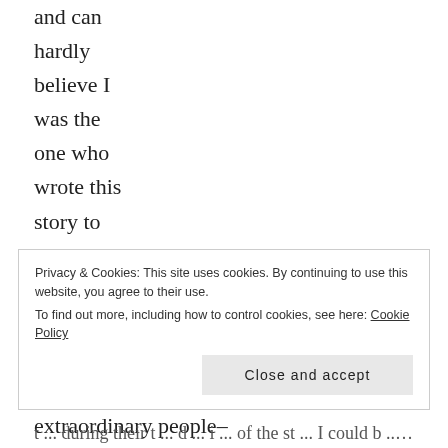and can hardly believe I was the one who wrote this story to begin with. I knew when I started that I wanted to write about extraordinary people–
Privacy & Cookies: This site uses cookies. By continuing to use this website, you agree to their use.
To find out more, including how to control cookies, see here: Cookie Policy
Close and accept
t ... during their t ... d ... i ... i ... of the st ... I could b ... ... Hi ...